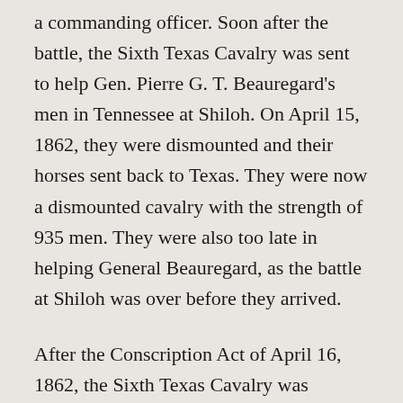a commanding officer. Soon after the battle, the Sixth Texas Cavalry was sent to help Gen. Pierre G. T. Beauregard's men in Tennessee at Shiloh. On April 15, 1862, they were dismounted and their horses sent back to Texas. They were now a dismounted cavalry with the strength of 935 men. They were also too late in helping General Beauregard, as the battle at Shiloh was over before they arrived.
After the Conscription Act of April 16, 1862, the Sixth Texas Cavalry was temporarily put under the command of the unpopular Col. Barton Warren Stone, Jr., who resigned and returned to Texas after not being promoted to brigadier general. During this time, disease ravaged the lines of the Sixth, with forty-one deaths reported in Arkansas and sixty-two in